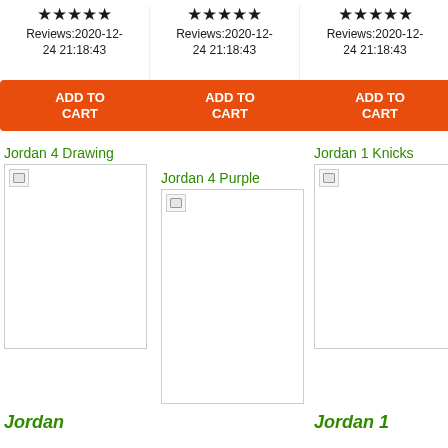★★★★★ Reviews:2020-12-24 21:18:43
ADD TO CART
★★★★★ Reviews:2020-12-24 21:18:43
ADD TO CART
★★★★★ Reviews:2020-12-24 21:18:43
ADD TO CART
Jordan 4 Drawing
[Figure (photo): Product image placeholder for Jordan 4 Drawing]
Jordan 4 Purple
[Figure (photo): Product image placeholder for Jordan 4 Purple]
Jordan 1 Knicks
[Figure (photo): Product image placeholder for Jordan 1 Knicks]
Jordan
Jordan 1